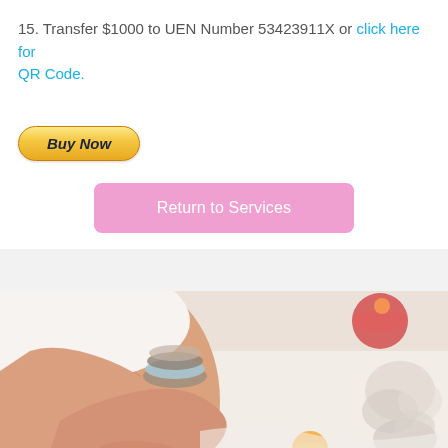15. Transfer $1000 to UEN Number 53423911X or click here for QR Code.
[Figure (other): PayPal Buy Now button with golden gradient rounded rectangle style]
[Figure (other): Pink rounded rectangle button labeled Return to Services]
[Figure (photo): Photo of person's hands with bracelets and rings, with candles and crystals in the background on a white surface]